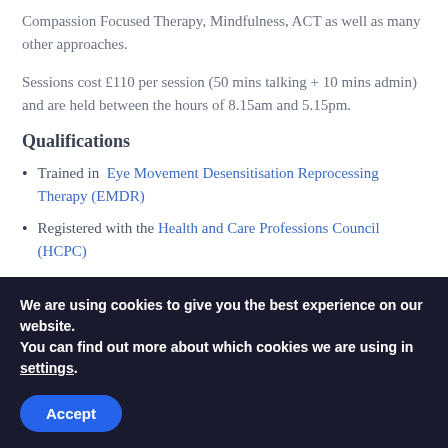Compassion Focused Therapy, Mindfulness, ACT as well as many other approaches.
Sessions cost £110 per session (50 mins talking + 10 mins admin) and are held between the hours of 8.15am and 5.15pm.
Qualifications
Trained in  Eye Movement Desensitisation Reprocessing Therapy (EMDR)
Registered with the Health and Care Professions Council (HCPC)
Completed the British Psychological Society Approved Training to be a Clinical Supervisor (2014)
We are using cookies to give you the best experience on our website.
You can find out more about which cookies we are using in settings.
Accept